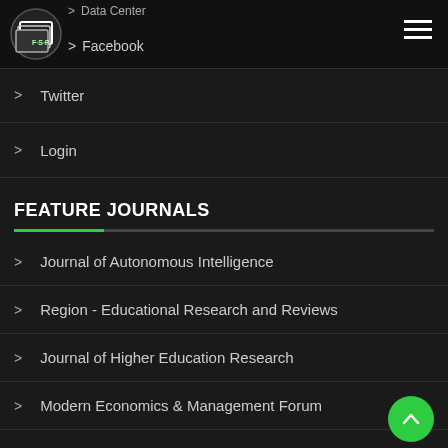Data Center | Facebook
Twitter
Login
FEATURE JOURNALS
Journal of Autonomous Intelligence
Region - Educational Research and Reviews
Journal of Higher Education Research
Modern Economics & Management Forum
Journal of Clinical Medicine Research